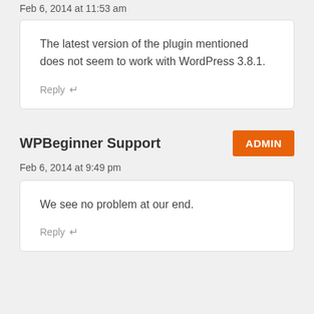Feb 6, 2014 at 11:53 am
The latest version of the plugin mentioned does not seem to work with WordPress 3.8.1.
Reply
WPBeginner Support
ADMIN
Feb 6, 2014 at 9:49 pm
We see no problem at our end.
Reply